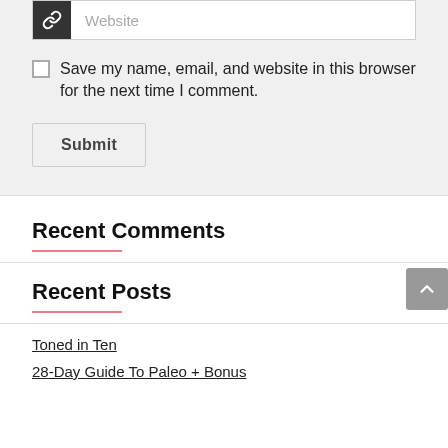[Figure (screenshot): Website input field with chain-link icon on dark background and 'Website' placeholder text]
Save my name, email, and website in this browser for the next time I comment.
Submit
Recent Comments
Recent Posts
Toned in Ten
28-Day Guide To Paleo + Bonus